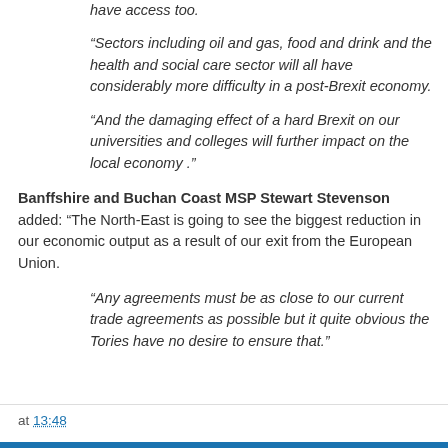have access too.
“Sectors including oil and gas, food and drink and the health and social care sector will all have considerably more difficulty in a post-Brexit economy.
“And the damaging effect of a hard Brexit on our universities and colleges will further impact on the local economy .”
Banffshire and Buchan Coast MSP Stewart Stevenson added: “The North-East is going to see the biggest reduction in our economic output as a result of our exit from the European Union.
“Any agreements must be as close to our current trade agreements as possible but it quite obvious the Tories have no desire to ensure that.”
at 13:48